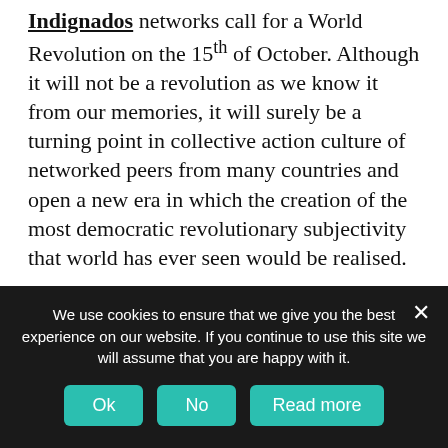Indignados networks call for a World Revolution on the 15th of October. Although it will not be a revolution as we know it from our memories, it will surely be a turning point in collective action culture of networked peers from many countries and open a new era in which the creation of the most democratic revolutionary subjectivity that world has ever seen would be realised.
Creation of a such revolutionary peer to peer subjectivity would indeed be the only way that would be able to lead us to dignity safely. To a better world, a commons based society.
We use cookies to ensure that we give you the best experience on our website. If you continue to use this site we will assume that you are happy with it.